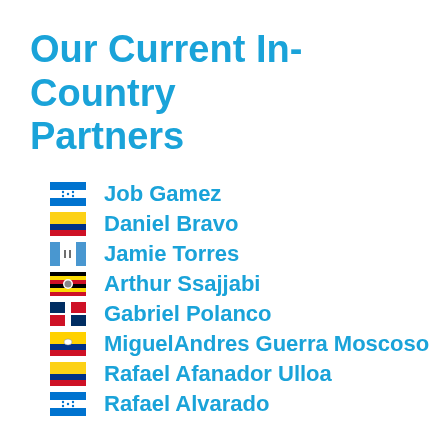Our Current In-Country Partners
Job Gamez
Daniel Bravo
Jamie Torres
Arthur Ssajjabi
Gabriel Polanco
MiguelAndres Guerra Moscoso
Rafael Afanador Ulloa
Rafael Alvarado